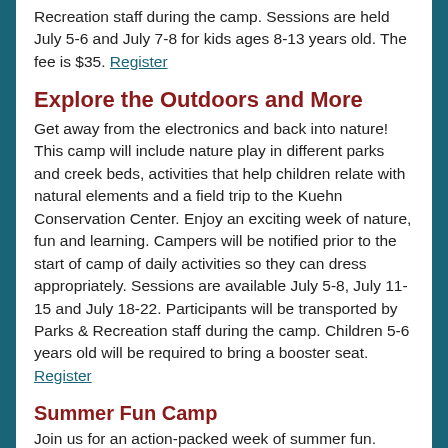Recreation staff during the camp. Sessions are held July 5-6 and July 7-8 for kids ages 8-13 years old. The fee is $35. Register
Explore the Outdoors and More
Get away from the electronics and back into nature! This camp will include nature play in different parks and creek beds, activities that help children relate with natural elements and a field trip to the Kuehn Conservation Center. Enjoy an exciting week of nature, fun and learning. Campers will be notified prior to the start of camp of daily activities so they can dress appropriately. Sessions are available July 5-8, July 11-15 and July 18-22. Participants will be transported by Parks & Recreation staff during the camp. Children 5-6 years old will be required to bring a booster seat. Register
Summer Fun Camp
Join us for an action-packed week of summer fun.